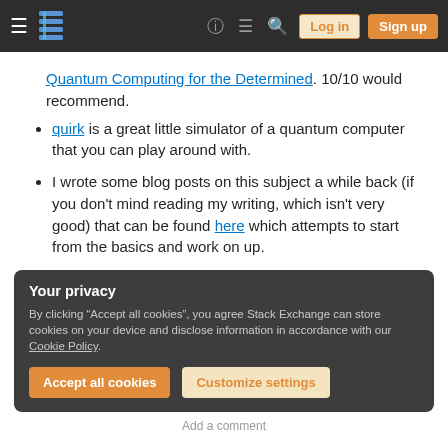Stack Exchange navigation bar with hamburger menu, logo, help, chat, search icons, Log in and Sign up buttons
Quantum Computing for the Determined. 10/10 would recommend.
quirk is a great little simulator of a quantum computer that you can play around with.
I wrote some blog posts on this subject a while back (if you don't mind reading my writing, which isn't very good) that can be found here which attempts to start from the basics and work on up.
Your privacy
By clicking “Accept all cookies”, you agree Stack Exchange can store cookies on your device and disclose information in accordance with our Cookie Policy.
Accept all cookies | Customize settings
Add a comment